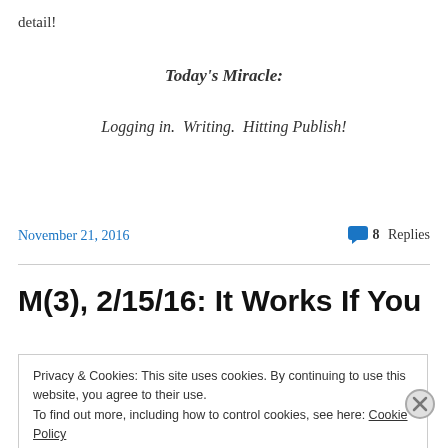detail!
Today's Miracle:
Logging in.  Writing.  Hitting Publish!
November 21, 2016
💬 8 Replies
M(3), 2/15/16: It Works If You
Privacy & Cookies: This site uses cookies. By continuing to use this website, you agree to their use.
To find out more, including how to control cookies, see here: Cookie Policy
Close and accept